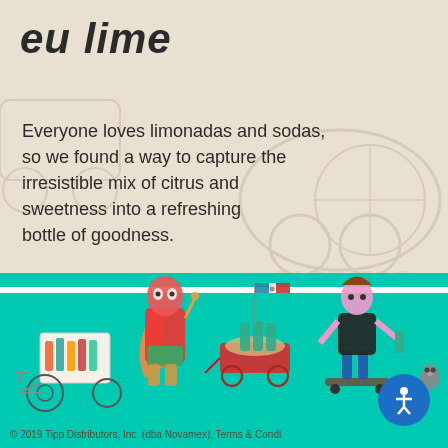eu lime
Everyone loves limonadas and sodas, so we found a way to capture the irresistible mix of citrus and sweetness into a refreshing bottle of goodness.
[Figure (illustration): Illustrated animated characters in a teal band: a masked wrestler-like skeleton character with a cape standing next to a street food cart with bottles, a red wagon with Jarritos bottles and a Mexican flag, a skeleton kid on a skateboard holding a bottle and walking a raccoon, and a white cargo bike on the left.]
© 2019 Tipp Distributors, Inc. (dba Novamex). Terms & Condi